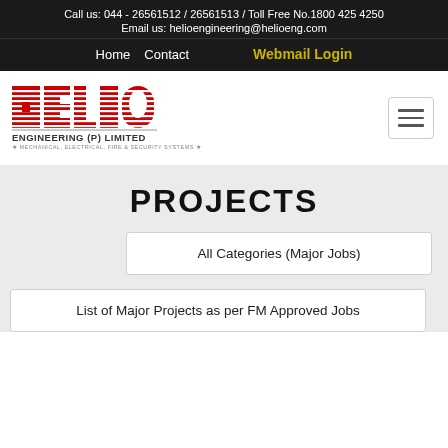Call us: 044 - 26561512 / 26561513 / Toll Free No.1800 425 4250
Email us: helioengineering@helioeng.com
Home  Contact  Webmail Login
[Figure (logo): Helio Engineering (P) Limited logo - HELIO in large red striped letters, below: ENGINEERING (P) LIMITED and MECHANICAL, ELECTRICAL, FIRE & SECURITY SYSTEMS]
PROJECTS
All Categories (Major Jobs)
List of Major Projects as per FM Approved Jobs